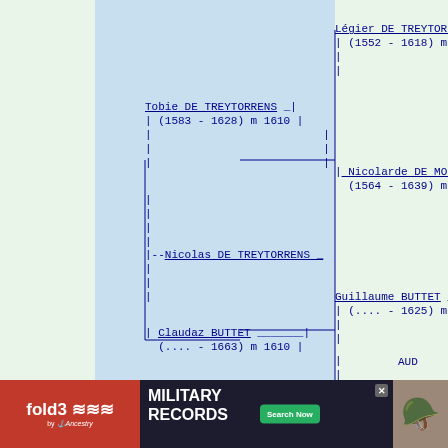[Figure (organizational-chart): Genealogical family tree showing ancestors of Nicolas DE TREYTORRENS. Includes: Légier DE TREYTORRENS (1552-1618) m 1580, Nicolarde DE MOLIN (1564-1639) m 1580, Tobie DE TREYTORRENS (1583-1628) m 1610, Guillaume BUTTET (... - 1625) m 1588, Claudaz BUTTET (... - 1663) m 1610, and Nicolas DE TREYTORRENS as the main subject.]
[Figure (infographic): Advertisement banner for Fold3 Military Records by Ancestry with Search Now button and soldier photo.]